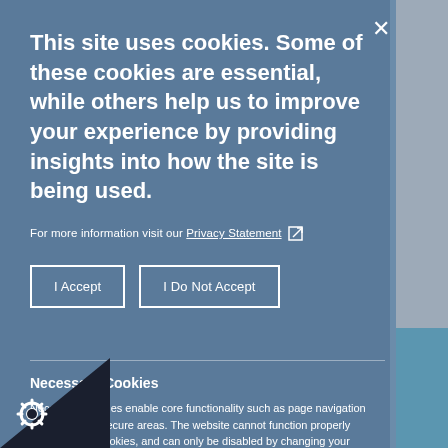This site uses cookies. Some of these cookies are essential, while others help us to improve your experience by providing insights into how the site is being used.
For more information visit our Privacy Statement [external link icon]
I Accept
I Do Not Accept
Necessary Cookies
Necessary cookies enable core functionality such as page navigation and access to secure areas. The website cannot function properly without these cookies, and can only be disabled by changing your browser preferences.